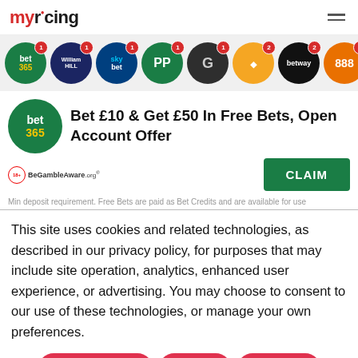myracing
[Figure (logo): Row of bookmaker icons: bet365, William Hill, Sky Bet, PP, Grosvenor, Betfair, Betway, 888, and more, each with a badge number]
Bet £10 & Get £50 In Free Bets, Open Account Offer
CLAIM
Min deposit requirement. Free Bets are paid as Bet Credits and are available for use
This site uses cookies and related technologies, as described in our privacy policy, for purposes that may include site operation, analytics, enhanced user experience, or advertising. You may choose to consent to our use of these technologies, or manage your own preferences.
Manage Settings
Accept
Decline All